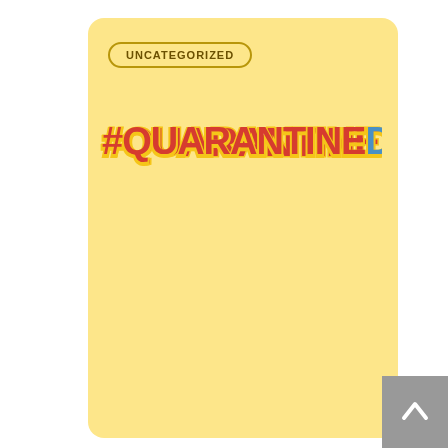UNCATEGORIZED
[Figure (illustration): #QUARANTINEDIARIES stylized logo text with colorful bold lettering on yellow background]
QUARANTINE DIARIES OF A TOUR OPERATOR
Week 7 trying to work from home. COVID-19 or Corona Virus or Rona as the new swag name took all by surprise. I first heard of this virus
Easy Go Safaris   Leave a Comment